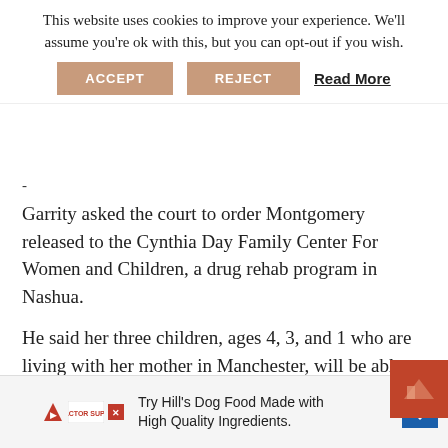This website uses cookies to improve your experience. We'll assume you're ok with this, but you can opt-out if you wish.
ACCEPT   REJECT   Read More
-
Garrity asked the court to order Montgomery released to the Cynthia Day Family Center For Women and Children, a drug rehab program in Nashua.
He said her three children, ages 4, 3, and 1 who are living with her mother in Manchester, will be able to visit her there although only two can stay overnight.
He explained that the center wants the Valley Street jail to transport Montgomery directly to the facility. The reason for that, he said, is the possibility th— individ— —lapse be f—
Try Hill's Dog Food Made with High Quality Ingredients.